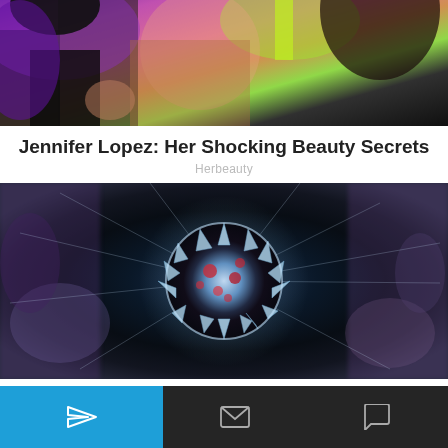[Figure (photo): Partial photo of performers on stage with colorful lighting — purple, green, pink tones, dark background. Two female figures partially visible.]
Jennifer Lopez: Her Shocking Beauty Secrets
Herbeauty
[Figure (photo): Digital illustration of a coronavirus particle (Omicron variant) with glowing blue-white spike proteins, set against a blurred crowd background.]
Omicron Can Spread Even Faster Than Its Predecessors
[Figure (screenshot): Mobile app bottom navigation bar with blue send/share icon on left (blue background), and mail and chat bubble icons on dark background on right. Green chat bubble circle bottom right.]